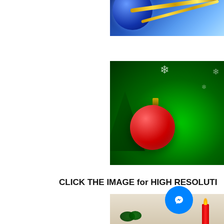[Figure (illustration): Christmas globe with golden ribbon on blue background, partially visible at top right]
[Figure (illustration): Red Christmas ornament ball hanging on green background with snowflakes and pine branches]
CLICK THE IMAGE for HIGH RESOLUTI
[Figure (illustration): Christmas candles with holly and red candles on light background, partially visible at bottom right]
[Figure (illustration): Facebook Messenger icon (blue circle with lightning bolt/chat symbol)]